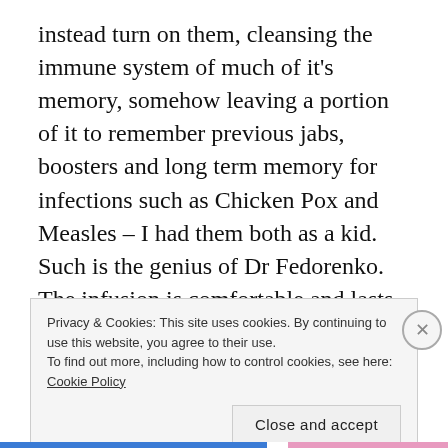instead turn on them, cleansing the immune system of much of it's memory, somehow leaving a portion of it to remember previous jabs, boosters and long term memory for infections such as Chicken Pox and Measles – I had them both as a kid. Such is the genius of Dr Fedorenko. The infusion is comfortable and lasts around 5 hours, in that time I'm kept busy replying to messages and watching a bit of Netflix.
Privacy & Cookies: This site uses cookies. By continuing to use this website, you agree to their use.
To find out more, including how to control cookies, see here: Cookie Policy